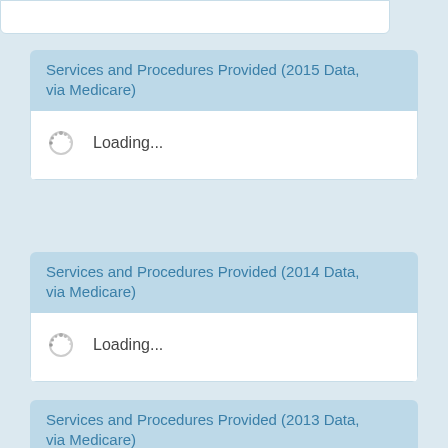Services and Procedures Provided (2015 Data, via Medicare)
Loading...
Services and Procedures Provided (2014 Data, via Medicare)
Loading...
Services and Procedures Provided (2013 Data, via Medicare)